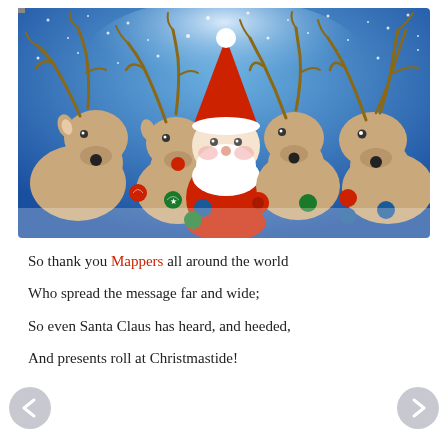[Figure (illustration): Illustrated Christmas scene showing Santa Claus surrounded by four reindeer against a snowy blue sky background. The reindeer and Santa are decorated with colorful Christmas ornament baubles (red, green, blue) strung like a garland. One reindeer on the left has a red nose (Rudolph). The style is whimsical watercolor/sketch illustration.]
So thank you Mappers all around the world

Who spread the message far and wide;

So even Santa Claus has heard, and heeded,

And presents roll at Christmastide!